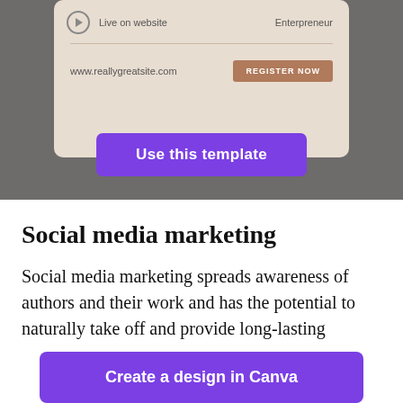[Figure (screenshot): Screenshot of a webinar/event registration card on a beige background with a play icon, 'Live on website' text, 'Enterpreneur' label, a URL 'www.reallygreatsite.com', and a 'REGISTER NOW' button. Below the card is a purple 'Use this template' button, all on a grey background.]
Social media marketing
Social media marketing spreads awareness of authors and their work and has the potential to naturally take off and provide long-lasting
[Figure (screenshot): Purple 'Create a design in Canva' button at the bottom of the page.]